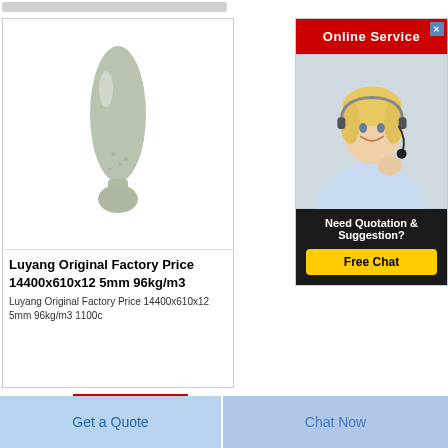[Figure (photo): Ceramic fiber product shaped like an elongated flask/bulb, light grey-green color, on a white background]
Luyang Original Factory Price 14400x610x12 5mm 96kg/m3
Luyang Original Factory Price 14400x610x12 5mm 96kg/m3 1100c
[Figure (photo): Online Service advertisement with a smiling customer service representative wearing a headset. Red header saying Online Service, bottom section with Need Quotation & Suggestion? and Free Chat button.]
Get Price
Get a Quote
Chat Now